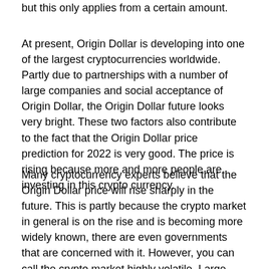but this only applies from a certain amount.
At present, Origin Dollar is developing into one of the largest cryptocurrencies worldwide. Partly due to partnerships with a number of large companies and social acceptance of Origin Dollar, the Origin Dollar future looks very bright. These two factors also contribute to the fact that the Origin Dollar price prediction for 2022 is very good. The price is rising because more and more people are investing in this crypto currency.
Many cryptocurrency experts believe that the Origin Dollar price will rise sharply in the future. This is partly because the crypto market in general is on the rise and is becoming more widely known, there are even governments that are concerned with it. However, you can call the crypto market highly volatile. Large price increases and price decreases can take place at short notice.